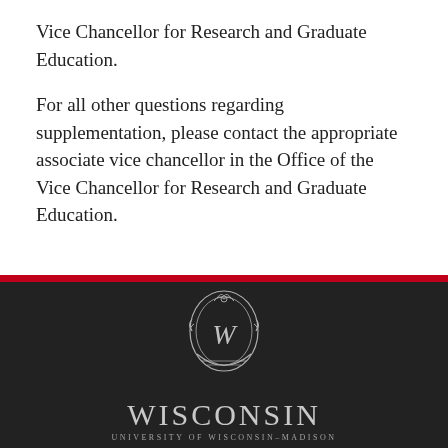Vice Chancellor for Research and Graduate Education.
For all other questions regarding supplementation, please contact the appropriate associate vice chancellor in the Office of the Vice Chancellor for Research and Graduate Education.
[Figure (logo): University of Wisconsin-Madison logo with crest/shield and wordmark 'WISCONSIN / UNIVERSITY OF WISCONSIN-MADISON' on dark background]